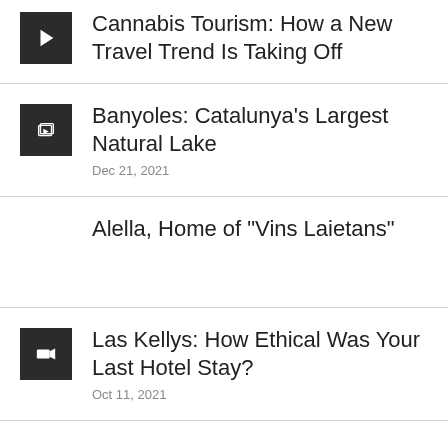Cannabis Tourism: How a New Travel Trend Is Taking Off
Banyoles: Catalunya's Largest Natural Lake
Dec 21, 2021
Alella, Home of "Vins Laietans"
Las Kellys: How Ethical Was Your Last Hotel Stay?
Oct 11, 2021